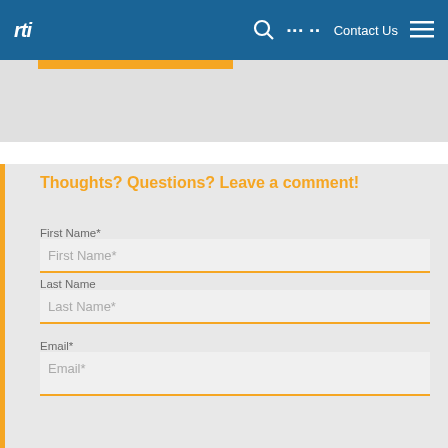rti  🔍  □□□ □□  Contact Us  ☰
Thoughts? Questions? Leave a comment!
First Name*
First Name*
Last Name
Last Name*
Email*
Email*